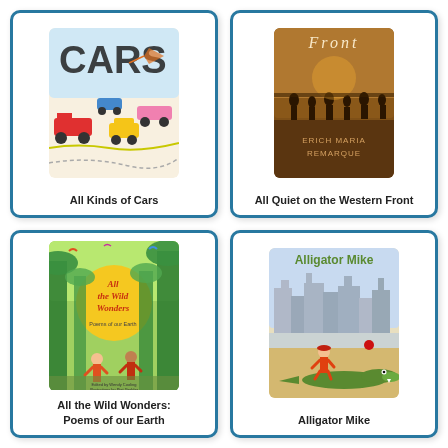[Figure (illustration): Book cover of 'All Kinds of Cars' showing colorful cartoon cars and vehicles]
All Kinds of Cars
[Figure (illustration): Book cover of 'All Quiet on the Western Front' by Erich Maria Remarque, showing soldiers in sepia tones]
All Quiet on the Western Front
[Figure (illustration): Book cover of 'All the Wild Wonders: Poems of our Earth' showing children in a jungle with colorful birds]
All the Wild Wonders: Poems of our Earth
[Figure (illustration): Book cover of 'Alligator Mike' showing a child running from an alligator with a city skyline in the background]
Alligator Mike